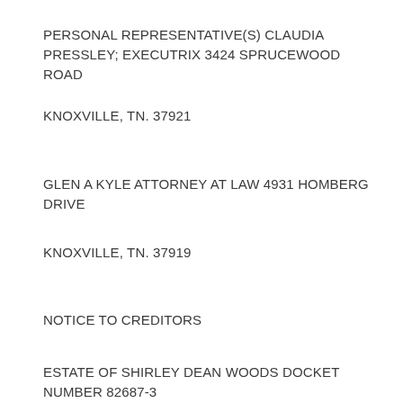PERSONAL REPRESENTATIVE(S) CLAUDIA PRESSLEY; EXECUTRIX 3424 SPRUCEWOOD ROAD
KNOXVILLE, TN. 37921
GLEN A KYLE ATTORNEY AT LAW 4931 HOMBERG DRIVE
KNOXVILLE, TN. 37919
NOTICE TO CREDITORS
ESTATE OF SHIRLEY DEAN WOODS DOCKET NUMBER 82687-3